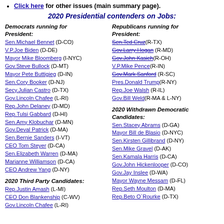Click here for other issues (main summary page).
2020 Presidential contenders on Jobs:
Democrats running for President: Sen.Michael Bennet (D-CO), V.P.Joe Biden (D-DE), Mayor Mike Bloomberg (I-NYC), Gov.Steve Bullock (D-MT), Mayor Pete Buttigieg (D-IN), Sen.Cory Booker (D-NJ), Secy.Julian Castro (D-TX), Gov.Lincoln Chafee (L-RI), Rep.John Delaney (D-MD), Rep.Tulsi Gabbard (D-HI), Sen.Amy Klobuchar (D-MN), Gov.Deval Patrick (D-MA), Sen.Bernie Sanders (I-VT), CEO Tom Steyer (D-CA), Sen.Elizabeth Warren (D-MA), Marianne Williamson (D-CA), CEO Andrew Yang (D-NY)
Republicans running for President: Sen.Ted Cruz (R-TX), Gov.Larry Hogan (R-MD), Gov.John Kasich (R-OH), V.P.Mike Pence (R-IN), Gov.Mark Sanford (R-SC), Pres.Donald Trump (R-NY), Rep.Joe Walsh (R-IL), Gov.Bill Weld (R-MA & L-NY)
2020 Third Party Candidates: Rep.Justin Amash (L-MI), CEO Don Blankenship (C-WV), Gov.Lincoln Chafee (L-RI)
2020 Withdrawn Democratic Candidates: Sen.Stacey Abrams (D-GA), Mayor Bill de Blasio (D-NYC), Sen.Kirsten Gillibrand (D-NY), Sen.Mike Gravel (D-AK), Sen.Kamala Harris (D-CA), Gov.John Hickenlooper (D-CO), Gov.Jay Inslee (D-WA), Mayor Wayne Messam (D-FL), Rep.Seth Moulton (D-MA), Rep.Beto O'Rourke (D-TX)